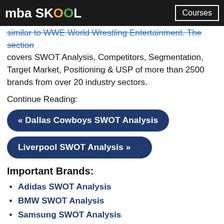mba SKOOL | Courses
similar to WWE World Wrestling Entertainment. The section covers SWOT Analysis, Competitors, Segmentation, Target Market, Positioning & USP of more than 2500 brands from over 20 industry sectors.
Continue Reading:
« Dallas Cowboys SWOT Analysis
Liverpool SWOT Analysis »
Important Brands:
Adidas SWOT Analysis
BMW SWOT Analysis
Samsung SWOT Analysis
Nike SWOT Analysis
Coca Cola SWOT Analysis